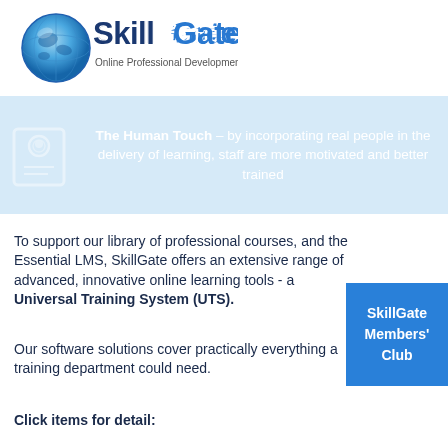[Figure (logo): SkillGate logo with globe and text 'SkillGate']
[Figure (infographic): Light blue banner with icon and white text: 'The Human Touch - by incorporating real people in the delivery of learning, staff are more motivated and better trained']
To support our library of professional courses, and the Essential LMS, SkillGate offers an extensive range of advanced, innovative online learning tools - a Universal Training System (UTS).
Our software solutions cover practically everything a training department could need.
Click items for detail:
[Figure (infographic): Blue popup box with text: SkillGate Members' Club]